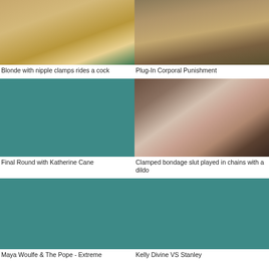[Figure (photo): Thumbnail image - blonde woman on star-patterned yellow background]
Blonde with nipple clamps rides a cock
[Figure (photo): Thumbnail image - bondage equipment/machine setup]
Plug-In Corporal Punishment
[Figure (photo): Thumbnail placeholder - teal/dark teal rectangle]
Final Round with Katherine Cane
[Figure (photo): Thumbnail image - bondage scene with woman in chains]
Clamped bondage slut played in chains with a dildo
[Figure (photo): Thumbnail placeholder - teal rectangle]
Maya Woulfe & The Pope - Extreme
[Figure (photo): Thumbnail placeholder - teal rectangle]
Kelly Divine VS Stanley